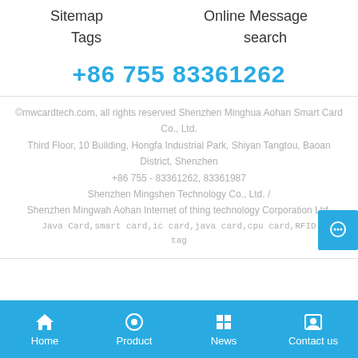Sitemap    Tags    Online Message    search
+86 755 83361262
©mwcardtech.com, all rights reserved Shenzhen Minghua Aohan Smart Card Co., Ltd.
Third Floor, 10 Building, Hongfa Industrial Park, Shiyan Tangtou, Baoan District, Shenzhen
+86 755 - 83361262, 83361987
Shenzhen Mingshen Technology Co., Ltd. /
Shenzhen Mingwah Aohan Internet of thing technology Corporation Ltd.
Java Card,smart card,ic card,java card,cpu card,RFID tag
Home    Product    News    Contact us